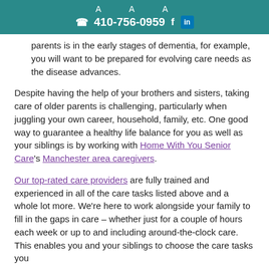A A A  ☎ 410-756-0959  f  in
parents is in the early stages of dementia, for example, you will want to be prepared for evolving care needs as the disease advances.
Despite having the help of your brothers and sisters, taking care of older parents is challenging, particularly when juggling your own career, household, family, etc. One good way to guarantee a healthy life balance for you as well as your siblings is by working with Home With You Senior Care's Manchester area caregivers.
Our top-rated care providers are fully trained and experienced in all of the care tasks listed above and a whole lot more. We're here to work alongside your family to fill in the gaps in care – whether just for a couple of hours each week or up to and including around-the-clock care. This enables you and your siblings to choose the care tasks you